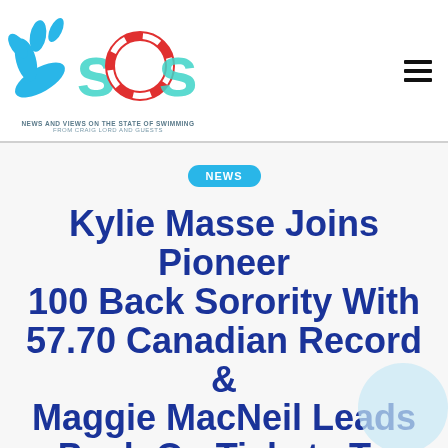SOS – NEWS AND VIEWS ON THE STATE OF SWIMMING FROM CRAIG LORD AND GUESTS
NEWS
Kylie Masse Joins Pioneer 100 Back Sorority With 57.70 Canadian Record & Maggie MacNeil Leads Push On Tickets To